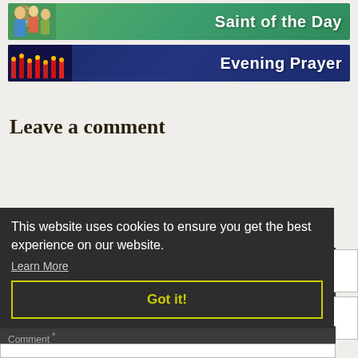[Figure (illustration): Saint of the Day banner with green background, illustrated saint figures on left, white bold text 'Saint of the Day' on right]
[Figure (photo): Evening Prayer banner with dark blue background, red candles/lights photo on left, white bold text 'Evening Prayer' on right]
Leave a comment
Name *
Email *
Comment *
This website uses cookies to ensure you get the best experience on our website.
Learn More
Got it!